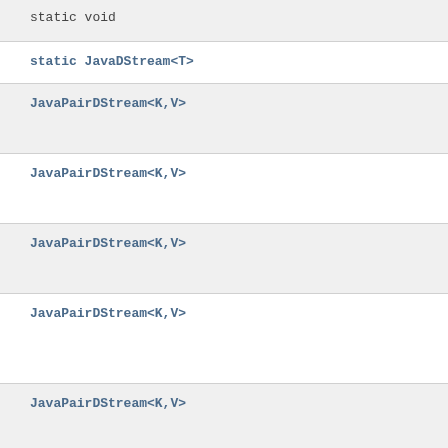| Return Type | Method/Description |
| --- | --- |
| static void |  |
| static JavaDStream<T> |  |
| JavaPairDStream<K,V> |  |
| JavaPairDStream<K,V> |  |
| JavaPairDStream<K,V> |  |
| JavaPairDStream<K,V> |  |
| JavaPairDStream<K,V> |  |
| JavaPairDStream<K,V> |  |